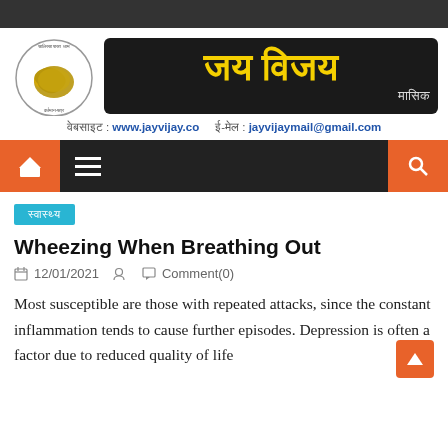[Figure (logo): Jai Vijay Masik website header with conch shell logo and Hindi brand name in yellow on black background, with website and email contact details]
वेबसाइट : www.jayvijay.co   ई-मेल : jayvijaymail@gmail.com
[Figure (screenshot): Navigation bar with home icon (orange), hamburger menu (dark), and search icon (orange)]
स्वास्थ्य
Wheezing When Breathing Out
12/01/2021   Comment(0)
Most susceptible are those with repeated attacks, since the constant inflammation tends to cause further episodes. Depression is often a factor due to reduced quality of life